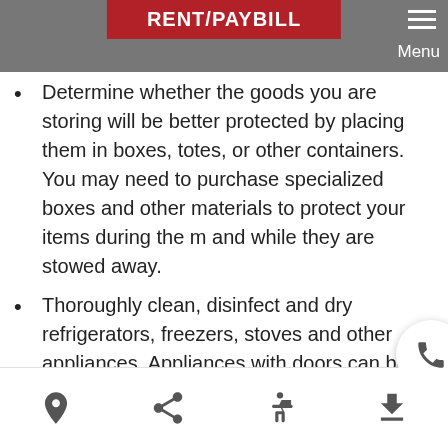RENT/PAYBILL
Determine whether the goods you are storing will be better protected by placing them in boxes, totes, or other containers. You may need to purchase specialized boxes and other materials to protect your items during the m... and while they are stowed away.
Thoroughly clean, disinfect and dry refrigerators, freezers, stoves and other appliances. Appliances with doors can be stored with the door slightly open, and some can be stacked on top of each other.
Retard rust by wiping down all types of metal surfaces before storing. Use a few drops of machine oil to lightly